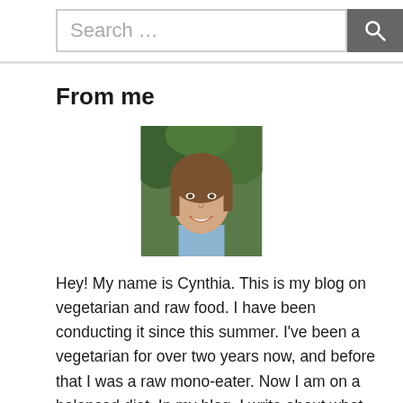Search …
From me
[Figure (photo): Headshot photo of a smiling young woman with brown hair, outdoors with green foliage in background.]
Hey! My name is Cynthia. This is my blog on vegetarian and raw food. I have been conducting it since this summer. I've been a vegetarian for over two years now, and before that I was a raw mono-eater. Now I am on a balanced diet. In my blog, I write about what vegetarians (meat eaters and